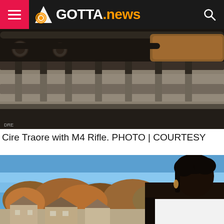GOTTA.news
[Figure (photo): Close-up photo of Cire Traore with M4 Rifle, showing dark textured industrial/military equipment surface]
Cire Traore with M4 Rifle. PHOTO | COURTESY
[Figure (photo): Outdoor photo of a woman in white long-sleeve top with curly updo hair and large earrings, standing against a backdrop of blue sky, autumn trees with orange/brown foliage, and suburban houses]